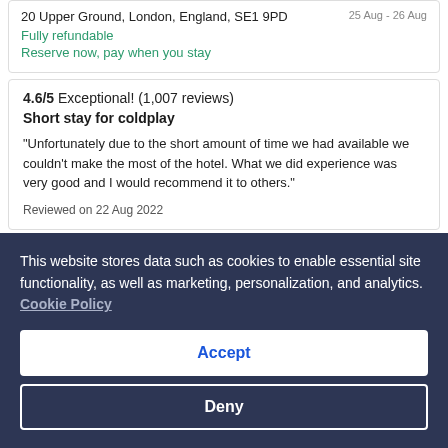20 Upper Ground, London, England, SE1 9PD
Fully refundable
Reserve now, pay when you stay
4.6/5 Exceptional! (1,007 reviews)
Short stay for coldplay
"Unfortunately due to the short amount of time we had available we couldn't make the most of the hotel. What we did experience was very good and I would recommend it to others."
Reviewed on 22 Aug 2022
[Figure (screenshot): Hotel listing card for InterContinental London - The O2, an IHG Hotel with a heart/save icon]
This website stores data such as cookies to enable essential site functionality, as well as marketing, personalization, and analytics. Cookie Policy
Accept
Deny